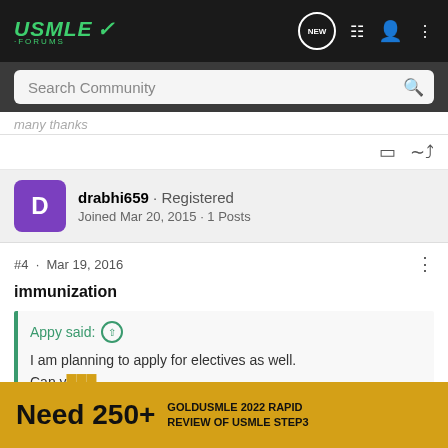USMLE FORUMS — Navigation bar with logo, search, new messages, menu, user, and options icons
Search Community
many thanks
drabhi659 · Registered
Joined Mar 20, 2015 · 1 Posts
#4 · Mar 19, 2016
immunization
Appy said:
I am planning to apply for electives as well.
Can you... can i g... ecific
[Figure (screenshot): Ad banner: Need 250+ GOLDUSMLE 2022 RAPID REVIEW OF USMLE STEP3]